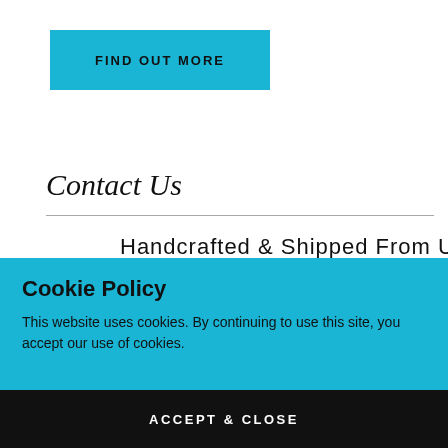[Figure (other): FIND OUT MORE button — teal/cyan rectangular button with bold uppercase black text]
Contact Us
Handcrafted & Shipped From UTAH
Cookie Policy
This website uses cookies. By continuing to use this site, you accept our use of cookies.
[Figure (other): ACCEPT & CLOSE button — black rectangular button with bold uppercase white text]